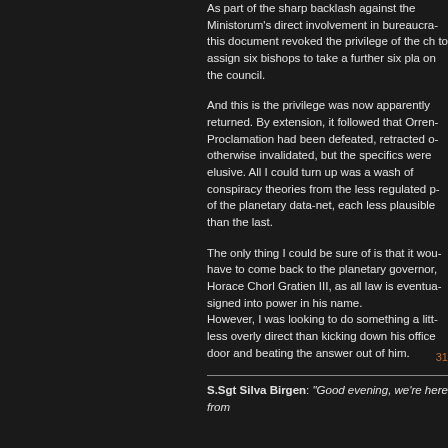As part of the sharp backlash against the Ministorum's direct involvement in bureaucra... this document revoked the privilege of the ch... to assign six bishops to take a further six pla... on the council.
And this is the privilege was now apparently returned. By extension, it followed that Orren... Proclamation had been defeated, retracted o... otherwise invalidated, but the specifics were elusive. All I could turn up was a wash of conspiracy theories from the less regulated p... of the planetary data-net, each less plausible than the last.
The only thing I could be sure of is that it wou... have to come back to the planetary governor, Horace Chorl Gratien III, as all law is eventua... signed into power in his name. However, I was looking to do something a litt... less overly direct than kicking down his office door and beating the answer out of him.
S.Sgt Silva Birgen: "Good evening, we're here from...